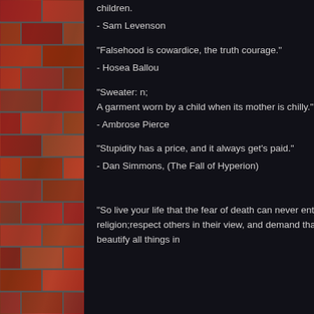[Figure (photo): Brick wall texture on the left side column]
children.
- Sam Levenson
"Falsehood is cowardice, the truth courage."
- Hosea Ballou
"Sweater: n;
A garment worn by a child when its mother is chilly."
- Ambrose Pierce
"Stupidity has a price, and it always get's paid."
- Dan Simmons, (The Fall of Hyperion)
"So live your life that the fear of death can never enter your heart. Trouble no one about their religion;respect others in their view, and demand that they respect yours. Love your life, perfect your life, beautify all things in your life."